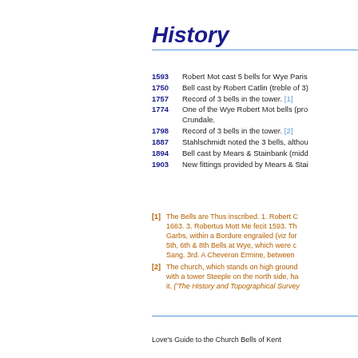History
1593  Robert Mot cast 5 bells for Wye Parish
1750  Bell cast by Robert Catlin (treble of 3)
1757  Record of 3 bells in the tower. [1]
1774  One of the Wye Robert Mot bells (pro... Crundale.
1798  Record of 3 bells in the tower. [2]
1887  Stahlschmidt noted the 3 bells, althou...
1894  Bell cast by Mears & Stainbank (midd...)
1903  New fittings provided by Mears & Stai...
[1] The Bells are Thus inscribed. 1. Robert C... 1663. 3. Robertus Mott Me fecit 1593. Th... Garbs, within a Bordure engrailed (viz for... 5th, 6th & 8th Bells at Wye, which were c... Sang. 3rd. A Cheveron Ermine, between
[2] The church, which stands on high ground... with a tower Steeple on the north side, ha... it. (The History and Topographical Survey...)
Love's Guide to the Church Bells of Kent